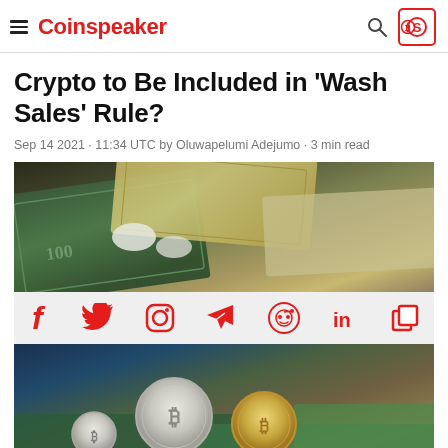Coinspeaker
Crypto to Be Included in 'Wash Sales' Rule?
Sep 14 2021 · 11:34 UTC by Oluwapelumi Adejumo · 3 min read
[Figure (photo): Euro and dollar banknotes spread out on a surface]
[Figure (infographic): Social media sharing icons bar: Facebook, Twitter, Instagram, Telegram, Reddit, LinkedIn, copy]
[Figure (photo): Bitcoin and other crypto coins on top of dollar and euro banknotes]
Photo: Depositphotos